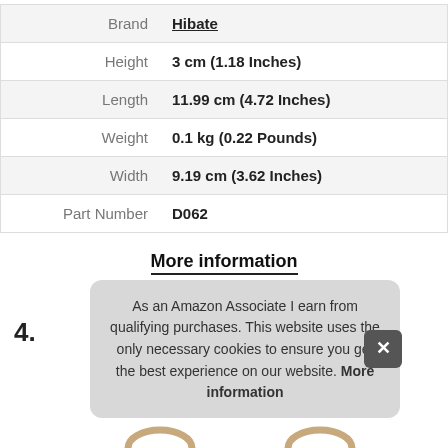| Attribute | Value |
| --- | --- |
| Brand | Hibate |
| Height | 3 cm (1.18 Inches) |
| Length | 11.99 cm (4.72 Inches) |
| Weight | 0.1 kg (0.22 Pounds) |
| Width | 9.19 cm (3.62 Inches) |
| Part Number | D062 |
More information
4.
As an Amazon Associate I earn from qualifying purchases. This website uses the only necessary cookies to ensure you get the best experience on our website. More information